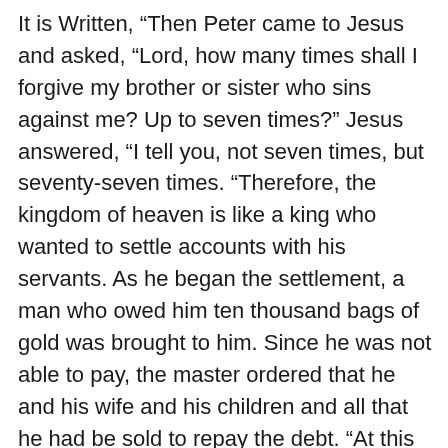It is Written, “Then Peter came to Jesus and asked, “Lord, how many times shall I forgive my brother or sister who sins against me? Up to seven times?” Jesus answered, “I tell you, not seven times, but seventy-seven times. “Therefore, the kingdom of heaven is like a king who wanted to settle accounts with his servants. As he began the settlement, a man who owed him ten thousand bags of gold was brought to him. Since he was not able to pay, the master ordered that he and his wife and his children and all that he had be sold to repay the debt. “At this the servant fell on his knees before him. ‘Be patient with me,’ he begged, ‘and I will pay back everything.’ The servant’s master took pity on him, canceled the debt and let him go. “But when that servant went out, he found one of his fellow servants who owed him a hundred silver coins. He grabbed him and began to choke him. ‘Pay back what you